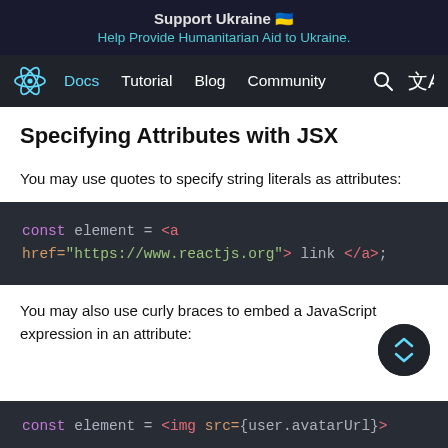Support Ukraine 🇺🇦
Help Provide Humanitarian Aid to Ukraine.
Docs  Tutorial  Blog  Community
Specifying Attributes with JSX
You may use quotes to specify string literals as attributes:
[Figure (screenshot): Code block showing: const element = <a href="https://www.reactjs.org"> link </a>;]
You may also use curly braces to embed a JavaScript expression in an attribute:
[Figure (screenshot): Code block showing: const element = <img src={user.avatarUrl}>]